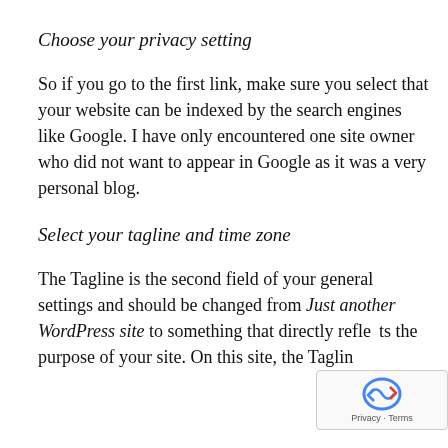Choose your privacy setting
So if you go to the first link, make sure you select that your website can be indexed by the search engines like Google. I have only encountered one site owner who did not want to appear in Google as it was a very personal blog.
Select your tagline and time zone
The Tagline is the second field of your general settings and should be changed from Just another WordPress site to something that directly reflects the purpose of your site. On this site, the Taglin…